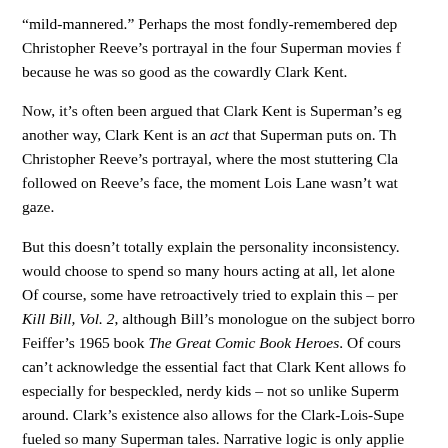“mild-mannered.” Perhaps the most fondly-remembered dep Christopher Reeve’s portrayal in the four Superman movies f because he was so good as the cowardly Clark Kent.
Now, it’s often been argued that Clark Kent is Superman’s eg another way, Clark Kent is an act that Superman puts on. Th Christopher Reeve’s portrayal, where the most stuttering Cla followed on Reeve’s face, the moment Lois Lane wasn’t wat gaze.
But this doesn’t totally explain the personality inconsistency. would choose to spend so many hours acting at all, let alone Of course, some have retroactively tried to explain this – per Kill Bill, Vol. 2, although Bill’s monologue on the subject borro Feiffer’s 1965 book The Great Comic Book Heroes. Of cours can’t acknowledge the essential fact that Clark Kent allows fo especially for bespeckled, nerdy kids – not so unlike Superm around. Clark’s existence also allows for the Clark-Lois-Supe fueled so many Superman tales. Narrative logic is only applie Kent to appeal to readers the way he does, he and Superma